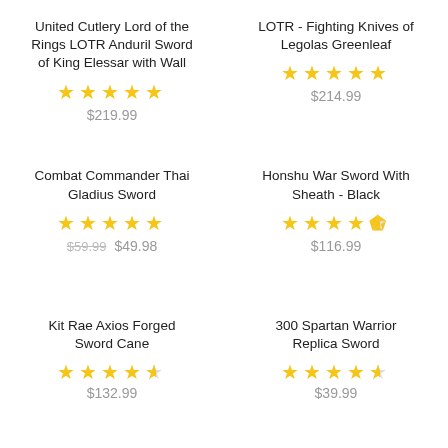United Cutlery Lord of the Rings LOTR Anduril Sword of King Elessar with Wall
★★★★★ $219.99
LOTR - Fighting Knives of Legolas Greenleaf
★★★★★ $214.99
Combat Commander Thai Gladius Sword
★★★★★ $59.99 $49.98
Honshu War Sword With Sheath - Black
★★★★½ $116.99
Kit Rae Axios Forged Sword Cane
★★★★½ $132.99
300 Spartan Warrior Replica Sword
★★★★½ $39.99